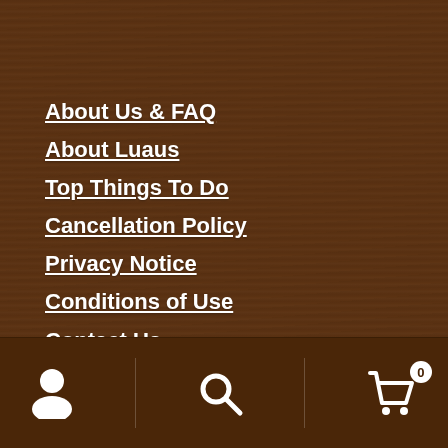About Us & FAQ
About Luaus
Top Things To Do
Cancellation Policy
Privacy Notice
Conditions of Use
Contact Us
About Honu Hawaii Activities
...
User icon | Search icon | Cart icon with badge 0